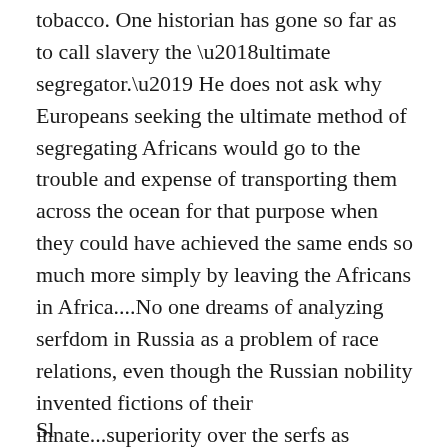tobacco. One historian has gone so far as to call slavery the ‘ultimate segregator.’ He does not ask why Europeans seeking the ultimate method of segregating Africans would go to the trouble and expense of transporting them across the ocean for that purpose when they could have achieved the same ends so much more simply by leaving the Africans in Africa....No one dreams of analyzing serfdom in Russia as a problem of race relations, even though the Russian nobility invented fictions of their innate...superiority over the serfs as preposterous as any devised by American racists.”
Sl...